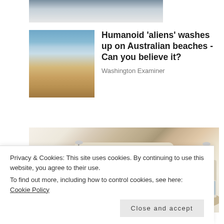[Figure (photo): Cropped image of people's legs/feet, partially visible at top of page]
[Figure (photo): Photo of an Australian beach with waves and sandy shore]
Humanoid 'aliens' washes up on Australian beaches - Can you believe it?
Washington Examiner
[Figure (photo): Product photo of a luxury smart bed with built-in speakers, side tables, massage chair, laptop stand, and storage compartments]
Privacy & Cookies: This site uses cookies. By continuing to use this website, you agree to their use.
To find out more, including how to control cookies, see here: Cookie Policy
Close and accept